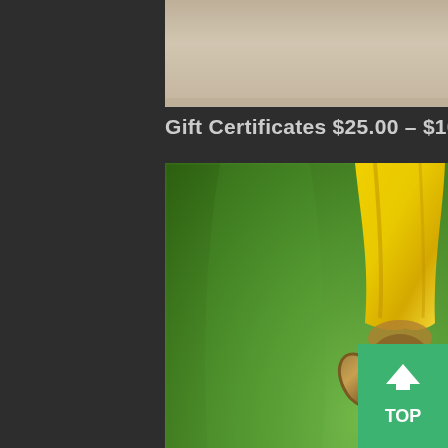[Figure (photo): Partial view of a blurred photo at top of page, showing a beige/tan background, appears to be the upper portion of a product or scene image.]
Gift Certificates $25.00 - $100.00
[Figure (photo): A vintage brass skeleton key hanging from a yellow ribbon against a blurred green grass background.]
You hold the key to how you